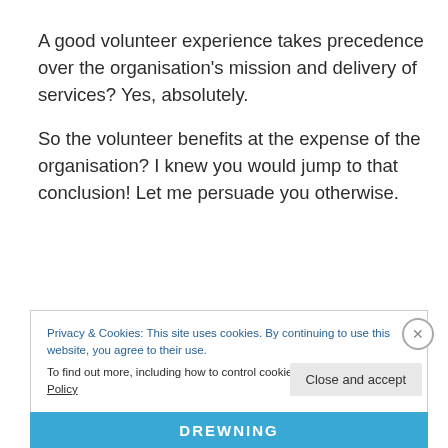A good volunteer experience takes precedence over the organisation's mission and delivery of services?  Yes, absolutely.
So the volunteer benefits at the expense of the organisation?  I knew you would jump to that conclusion!  Let me persuade you otherwise.
Privacy & Cookies: This site uses cookies. By continuing to use this website, you agree to their use.
To find out more, including how to control cookies, see here: Cookie Policy
Close and accept